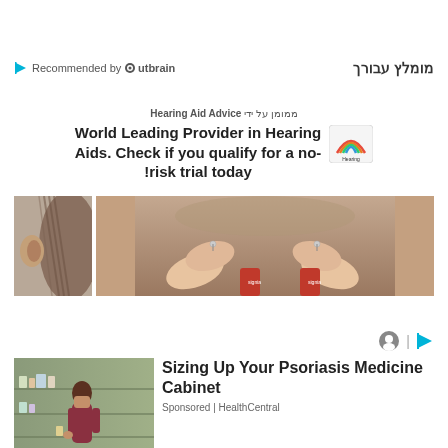[Figure (logo): Outbrain 'Recommended by Outbrain' logo with play icon and Outbrain wordmark, plus Hebrew text 'מומלץ עבורך']
ממומן על ידי Hearing Aid Advice
World Leading Provider in Hearing Aids. Check if you qualify for a no-risk trial today!
[Figure (photo): Two photos: left shows side of person's head/ear, right shows two fingers holding small hearing aid devices over a red device]
[Figure (logo): Tabby/Outbrain icon row with circular avatar and play button icon]
[Figure (photo): Woman in store/pharmacy aisle looking at products]
Sizing Up Your Psoriasis Medicine Cabinet
Sponsored | HealthCentral